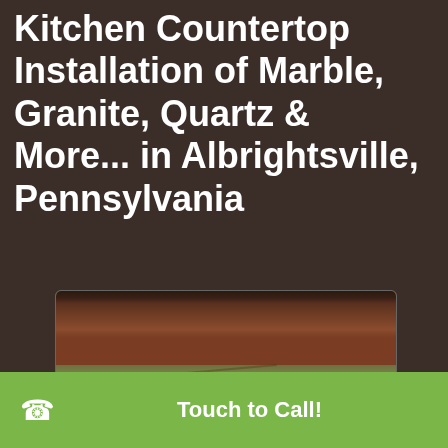Kitchen Countertop Installation of Marble, Granite, Quartz & More... in Albrightsville, Pennsylvania
[Figure (photo): Photo of a kitchen with dark granite/stone countertops and dark reddish-brown wood cabinets with silver handles]
Touch to Call!